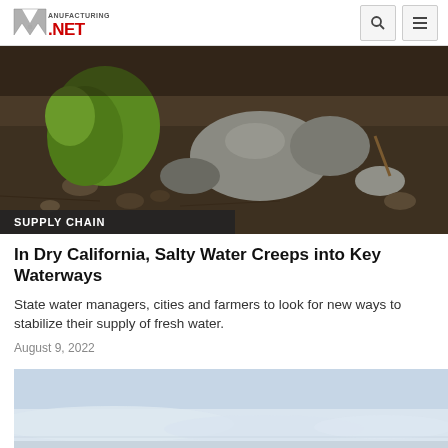Manufacturing.NET
[Figure (photo): Close-up photo of dry cracked soil with a green plant and rocks, illustrating drought conditions in California]
SUPPLY CHAIN
In Dry California, Salty Water Creeps into Key Waterways
State water managers, cities and farmers to look for new ways to stabilize their supply of fresh water.
August 9, 2022
[Figure (photo): Hazy sky with low clouds, likely over a California landscape, suggesting drought or smoke conditions]